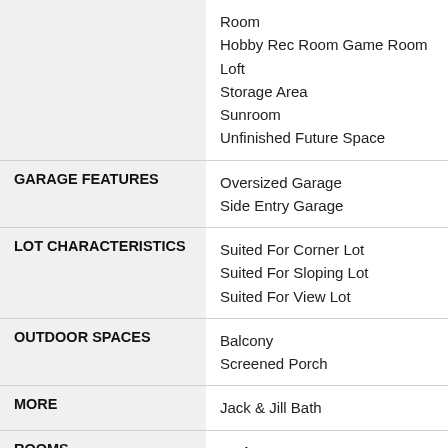| Category | Values |
| --- | --- |
|  | Room
Hobby Rec Room Game Room
Loft
Storage Area
Sunroom
Unfinished Future Space |
| GARAGE FEATURES | Oversized Garage
Side Entry Garage |
| LOT CHARACTERISTICS | Suited For Corner Lot
Suited For Sloping Lot
Suited For View Lot |
| OUTDOOR SPACES | Balcony
Screened Porch |
| MORE | Jack & Jill Bath |
| ROOMS | Bedroom 2: |